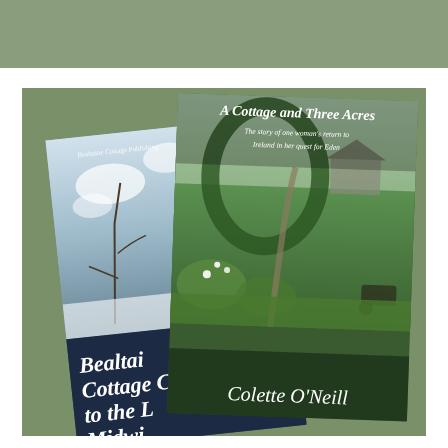[Figure (photo): Two book covers by Colette O'Neill photographed on a wooden surface against a sage green background. Left book: 'Bealtaine Cottage ... to the ... Midwi...' published by Bealtaine Cottage Publishing, showing a winter snow-covered garden scene. Right book: 'A Cottage and Three Acres - The story of one woman's return to Ireland in her quest for Eden' by Colette O'Neill, showing a lush green garden path with a cottage in the background.]